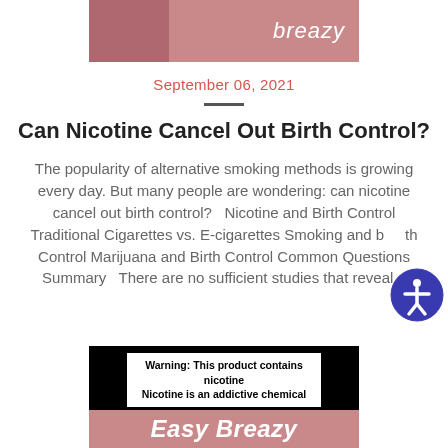[Figure (photo): Top banner with pink/mauve background and 'breazy' logo in white italic text]
September 06, 2021
Can Nicotine Cancel Out Birth Control?
The popularity of alternative smoking methods is growing every day. But many people are wondering: can nicotine cancel out birth control?   Nicotine and Birth Control Traditional Cigarettes vs. E-cigarettes Smoking and Birth Control Marijuana and Birth Control Common Questions Summary   There are no sufficient studies that reveal...
[Figure (photo): Bottom product banner with black border warning label and pink/mauve background showing 'Easy Breazy' in white bold italic text]